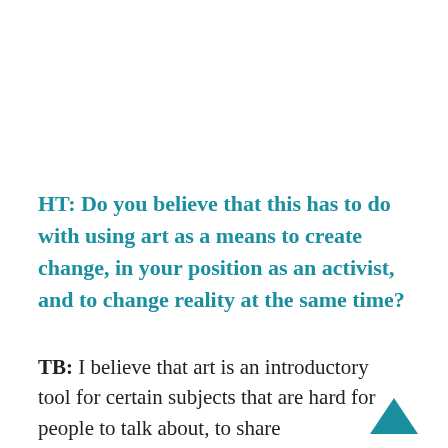HT: Do you believe that this has to do with using art as a means to create change, in your position as an activist, and to change reality at the same time?
TB: I believe that art is an introductory tool for certain subjects that are hard for people to talk about, to share